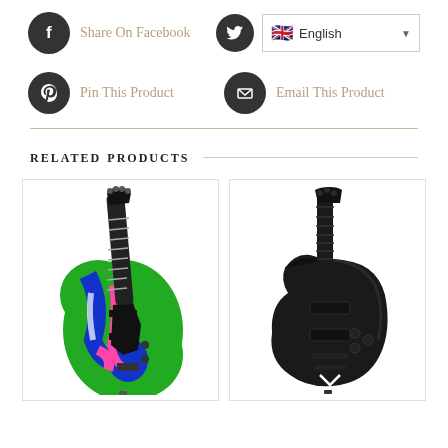Share On Facebook
English
Pin This Product
Email This Product
Related Products
[Figure (photo): Electric guitar with colorful green, pink and blue swirl pattern body and black hardware]
[Figure (photo): All-black electric guitar with single cutaway body and black hardware]